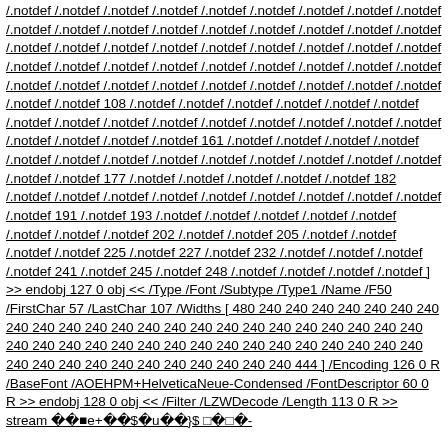/.notdef /.notdef /.notdef /.notdef /.notdef /.notdef /.notdef /.notdef /.notdef /.notdef /.notdef /.notdef /.notdef /.notdef /.notdef /.notdef /.notdef /.notdef /.notdef /.notdef /.notdef /.notdef /.notdef /.notdef /.notdef /.notdef /.notdef /.notdef /.notdef /.notdef /.notdef /.notdef /.notdef /.notdef /.notdef /.notdef /.notdef /.notdef /.notdef /.notdef /.notdef /.notdef /.notdef /.notdef /.notdef /.notdef /.notdef 108 /.notdef /.notdef /.notdef /.notdef /.notdef /.notdef /.notdef /.notdef /.notdef /.notdef /.notdef /.notdef /.notdef /.notdef /.notdef /.notdef /.notdef /.notdef /.notdef 161 /.notdef /.notdef /.notdef /.notdef /.notdef /.notdef /.notdef /.notdef /.notdef /.notdef /.notdef /.notdef /.notdef /.notdef /.notdef 177 /.notdef /.notdef /.notdef /.notdef /.notdef 182 /.notdef /.notdef /.notdef /.notdef /.notdef /.notdef /.notdef /.notdef /.notdef /.notdef 191 /.notdef 193 /.notdef /.notdef /.notdef /.notdef /.notdef /.notdef /.notdef /.notdef 202 /.notdef /.notdef 205 /.notdef /.notdef /.notdef /.notdef 225 /.notdef 227 /.notdef 232 /.notdef /.notdef /.notdef /.notdef 241 /.notdef 245 /.notdef 248 /.notdef /.notdef /.notdef /.notdef ] >> endobj 127 0 obj << /Type /Font /Subtype /Type1 /Name /F50 /FirstChar 57 /LastChar 107 /Widths [ 480 240 240 240 240 240 240 240 240 240 240 240 240 240 240 240 240 240 240 240 240 240 240 240 240 240 240 240 240 240 240 240 240 240 240 240 240 240 240 240 240 240 240 240 240 240 240 240 240 240 240 444 ] /Encoding 126 0 R /BaseFont /AOEHPM+HelveticaNeue-Condensed /FontDescriptor 60 0 R >> endobj 128 0 obj << /Filter /LZWDecode /Length 113 0 R >> stream ▓▓▒e+▓▓$▓u▓▓}$ ▒▓▒▓-